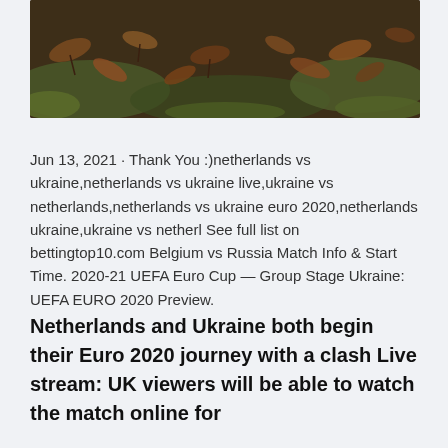[Figure (photo): Partial view of a nature/outdoor photo showing leaves and moss on the ground, dark tones with browns and greens, cropped at the top of the page.]
Jun 13, 2021 · Thank You :)netherlands vs ukraine,netherlands vs ukraine live,ukraine vs netherlands,netherlands vs ukraine euro 2020,netherlands ukraine,ukraine vs netherl See full list on bettingtop10.com Belgium vs Russia Match Info & Start Time. 2020-21 UEFA Euro Cup — Group Stage Ukraine: UEFA EURO 2020 Preview.
Netherlands and Ukraine both begin their Euro 2020 journey with a clash Live stream: UK viewers will be able to watch the match online for